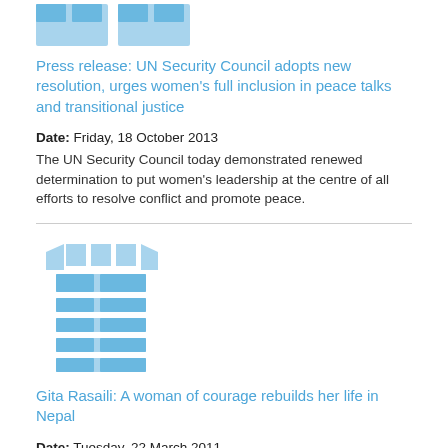[Figure (logo): UN Women logo (partially visible at top, cropped)]
Press release: UN Security Council adopts new resolution, urges women's full inclusion in peace talks and transitional justice
Date: Friday, 18 October 2013
The UN Security Council today demonstrated renewed determination to put women's leadership at the centre of all efforts to resolve conflict and promote peace.
[Figure (logo): UN Women logo (full, light blue)]
Gita Rasaili: A woman of courage rebuilds her life in Nepal
Date: Tuesday, 22 March 2011
A courageous survivor of Nepal's conflict empowers herself and starts an organization to help other women re-build their lives.